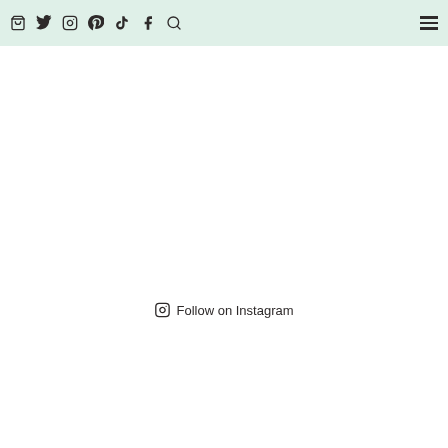Social media navigation bar with icons: shopping bag, Twitter, Instagram, Pinterest, TikTok, Facebook, Search, and hamburger menu
Follow on Instagram